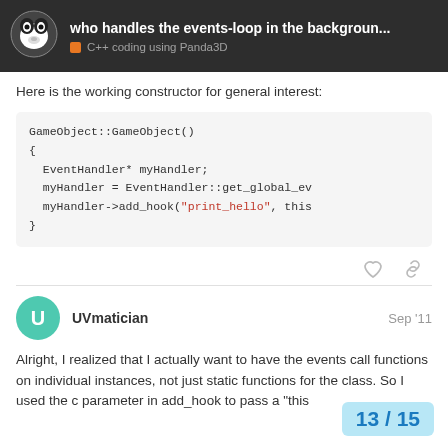who handles the events-loop in the backgroun... | C++ coding using Panda3D
Here is the working constructor for general interest:
[Figure (screenshot): Code block showing C++ constructor: GameObject::GameObject() { EventHandler* myHandler; myHandler = EventHandler::get_global_ev myHandler->add_hook("print_hello", this }]
UVmatician  Sep '11
Alright, I realized that I actually want to have the events call functions on individual instances, not just static functions for the class. So I used the c parameter in add_hook to pass a "this